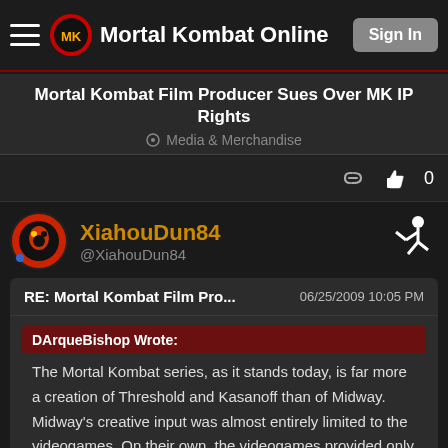Mortal Kombat Online — Sign In
Mortal Kombat Film Producer Sues Over MK IP Rights
Media & Merchandise
XiahouDun84 @XiahouDun84
RE: Mortal Kombat Film Pro... 06/25/2009 10:05 PM
DArqueBishop Wrote: The Mortal Kombat series, as it stands today, is far more a creation of Threshold and Kasanoff than of Midway. Midway's creative input was almost entirely limited to the videogames. On their own, the videogames provided only minimal back-story and